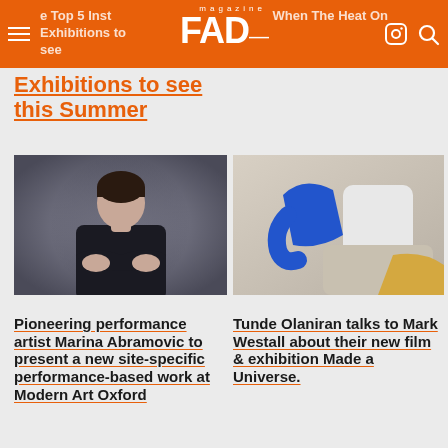FAD magazine | The Top 5 Inst… When The Heat On…
Exhibitions to see this Summer
[Figure (photo): Portrait of Marina Abramovic dressed in black against grey background]
[Figure (photo): Tunde Olaniran in blue and white clothing against beige background]
Pioneering performance artist Marina Abramovic to present a new site-specific performance-based work at Modern Art Oxford
Tunde Olaniran talks to Mark Westall about their new film & exhibition Made a Universe.